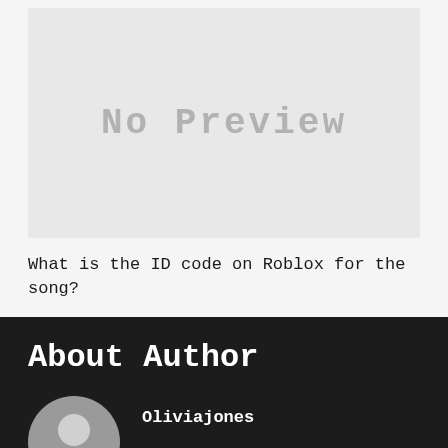[Figure (other): No Preview placeholder image with light gray background]
What is the ID code on Roblox for the song?
About Author
[Figure (photo): Generic user avatar silhouette on gray circle background]
Oliviajones